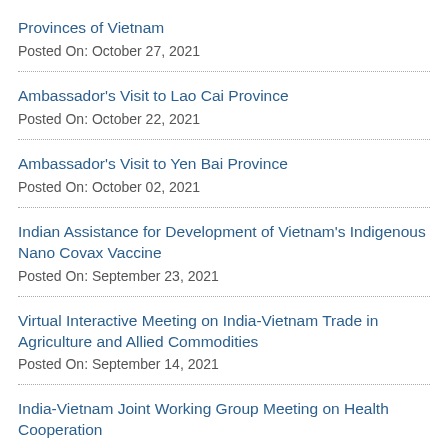Provinces of Vietnam
Posted On: October 27, 2021
Ambassador's Visit to Lao Cai Province
Posted On: October 22, 2021
Ambassador's Visit to Yen Bai Province
Posted On: October 02, 2021
Indian Assistance for Development of Vietnam's Indigenous Nano Covax Vaccine
Posted On: September 23, 2021
Virtual Interactive Meeting on India-Vietnam Trade in Agriculture and Allied Commodities
Posted On: September 14, 2021
India-Vietnam Joint Working Group Meeting on Health Cooperation